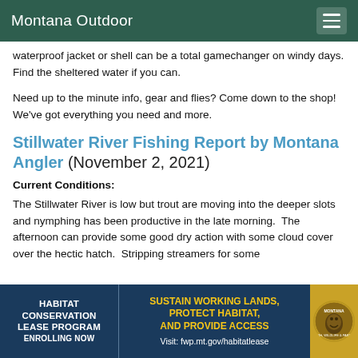Montana Outdoor
waterproof jacket or shell can be a total gamechanger on windy days. Find the sheltered water if you can.
Need up to the minute info, gear and flies? Come down to the shop! We've got everything you need and more.
Stillwater River Fishing Report by Montana Angler (November 2, 2021)
Current Conditions:
The Stillwater River is low but trout are moving into the deeper slots and nymphing has been productive in the late morning. The afternoon can provide some good dry action with some cloud cover over the hectic hatch. Stripping streamers for some
HABITAT CONSERVATION LEASE PROGRAM ENROLLING NOW | SUSTAIN WORKING LANDS, PROTECT HABITAT, AND PROVIDE ACCESS Visit: fwp.mt.gov/habitatlease